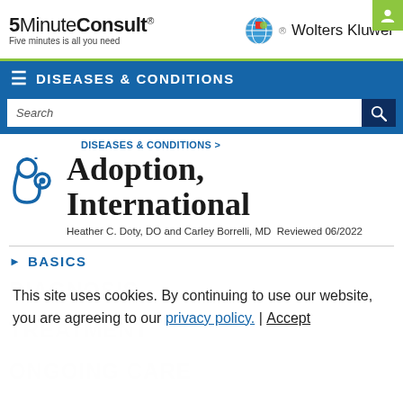5MinuteConsult® Five minutes is all you need | Wolters Kluwer
DISEASES & CONDITIONS
Search
DISEASES & CONDITIONS >
Adoption, International
Heather C. Doty, DO and Carley Borrelli, MD  Reviewed 06/2022
BASICS
This site uses cookies. By continuing to use our website, you are agreeing to our privacy policy. | Accept